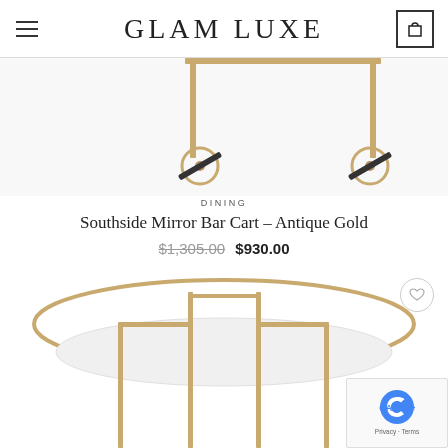GLAM LUXE
[Figure (photo): Top portion of a gold antique bar cart showing two castor wheels visible at the top]
DINING
Southside Mirror Bar Cart – Antique Gold
$1,305.00  $930.00
[Figure (photo): Southside Mirror Bar Cart in Antique Gold finish — gold metal frame with oval white mirrored shelf and wishlist heart button visible]